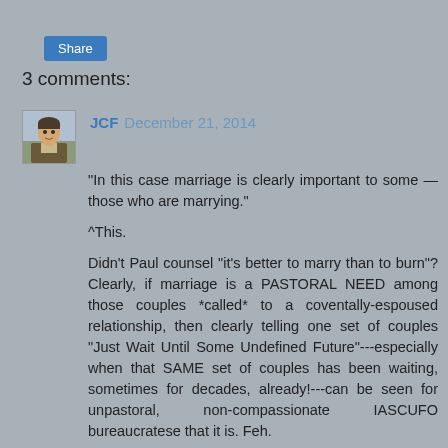[Figure (other): Share button — blue rounded rectangle button labeled 'Share']
3 comments:
[Figure (illustration): Avatar/profile image of commenter JCF — illustrated cartoon-style portrait of a man]
JCF December 21, 2014
"In this case marriage is clearly important to some — those who are marrying."

^This.

Didn't Paul counsel "it's better to marry than to burn"? Clearly, if marriage is a PASTORAL NEED among those couples *called* to a coventally-espoused relationship, then clearly telling one set of couples "Just Wait Until Some Undefined Future"---especially when that SAME set of couples has been waiting, sometimes for decades, already!---can be seen for unpastoral, non-compassionate IASCUFO bureaucratese that it is. Feh.
Reply